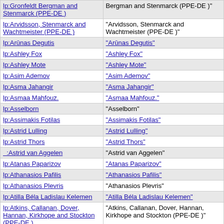| Link | Label |
| --- | --- |
| lp:Gronfeldt Bergman and Stenmarck (PPE-DE ) | "Bergman and Stenmarck (PPE-DE )" |
| lp:Arvidsson, Stenmarck and Wachtmeister (PPE-DE ) | "Arvidsson, Stenmarck and Wachtmeister (PPE-DE )" |
| lp:Arūnas Degutis | "Arūnas Degutis" |
| lp:Ashley Fox | "Ashley Fox" |
| lp:Ashley Mote | "Ashley Mote" |
| lp:Asim Ademov | "Asim Ademov" |
| lp:Asma Jahangir | "Asma Jahangir" |
| lp:Asmaa Mahfouz. | "Asmaa Mahfouz." |
| lp:Asselborn | "Asselborn" |
| lp:Assimakis Fotilas | "Assimakis Fotilas" |
| lp:Astrid Lulling | "Astrid Lulling" |
| lp:Astrid Thors | "Astrid Thors" |
| :Astrid van Aggelen | "Astrid van Aggelen" |
| lp:Atanas Paparizov | "Atanas Paparizov" |
| lp:Athanasios Pafilis | "Athanasios Pafilis" |
| lp:Athanasios Plevris | "Athanasios Plevris" |
| lp:Atilla Béla Ladislau Kelemen | "Atilla Béla Ladislau Kelemen" |
| lp:Atkins, Callanan, Dover, Hannan, Kirkhope and Stockton (PPE-DE ) | "Atkins, Callanan, Dover, Hannan, Kirkhope and Stockton (PPE-DE )" |
| lp:Attila László Gruber | "Attila László Gruber" |